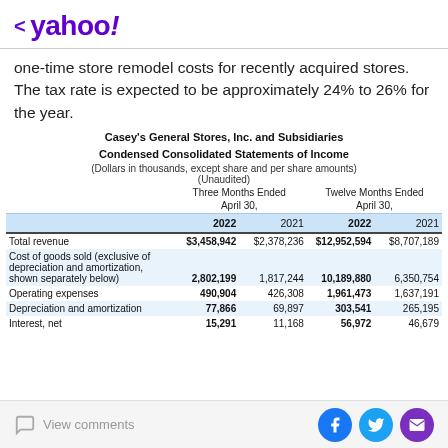< yahoo!
one-time store remodel costs for recently acquired stores. The tax rate is expected to be approximately 24% to 26% for the year.
Casey's General Stores, Inc. and Subsidiaries Condensed Consolidated Statements of Income (Dollars in thousands, except share and per share amounts) (Unaudited)
|  | Three Months Ended April 30, 2022 | Three Months Ended April 30, 2021 | Twelve Months Ended April 30, 2022 | Twelve Months Ended April 30, 2021 |
| --- | --- | --- | --- | --- |
| Total revenue | $3,458,942 | $2,378,236 | $12,952,594 | $8,707,189 |
| Cost of goods sold (exclusive of depreciation and amortization, shown separately below) | 2,802,199 | 1,817,244 | 10,189,880 | 6,350,754 |
| Operating expenses | 490,904 | 426,308 | 1,961,473 | 1,637,191 |
| Depreciation and amortization | 77,866 | 69,897 | 303,541 | 265,195 |
| Interest, net | 15,291 | 11,168 | 56,972 | 46,679 |
View comments